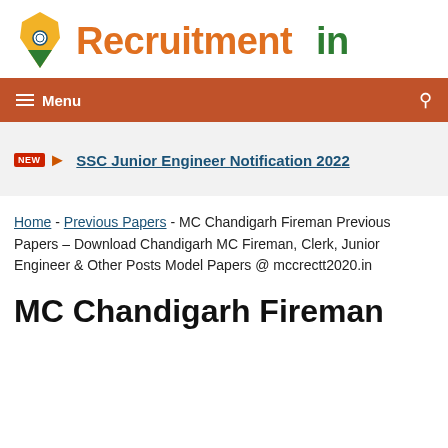[Figure (logo): RecruitmentIndia logo with India map icon and orange/green text]
≡ Menu
SSC Junior Engineer Notification 2022
Home - Previous Papers - MC Chandigarh Fireman Previous Papers – Download Chandigarh MC Fireman, Clerk, Junior Engineer & Other Posts Model Papers @ mccrectt2020.in
MC Chandigarh Fireman